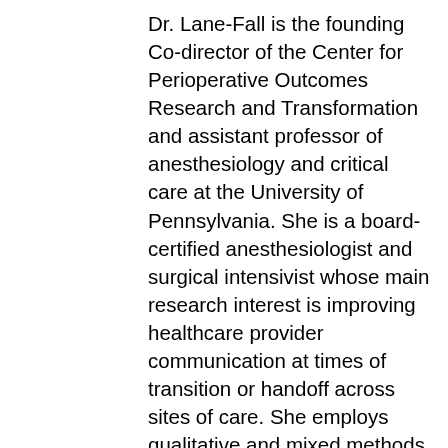Dr. Lane-Fall is the founding Co-director of the Center for Perioperative Outcomes Research and Transformation and assistant professor of anesthesiology and critical care at the University of Pennsylvania. She is a board-certified anesthesiologist and surgical intensivist whose main research interest is improving healthcare provider communication at times of transition or handoff across sites of care. She employs qualitative and mixed methods to develop effective communication strategies that incorporate human factors principles while complementing clinician workflow. Her work is best characterized as healthcare delivery science, falling at the intersection of improvement science and implementation science. Dr. Lane-Fall is also interested in building research capacity in health services research; she mentors research fellows and clinical trainees and is the co-course